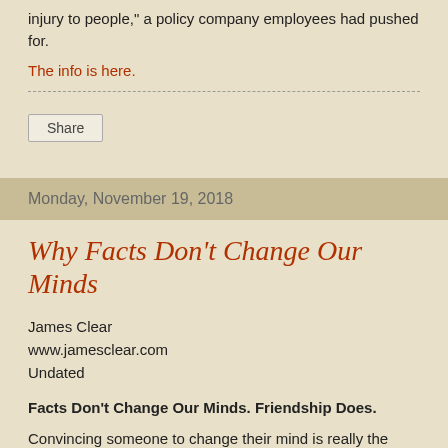injury to people," a policy company employees had pushed for.
The info is here.
Share
Monday, November 19, 2018
Why Facts Don't Change Our Minds
James Clear
www.jamesclear.com
Undated
Facts Don't Change Our Minds. Friendship Does.
Convincing someone to change their mind is really the process of convincing them to change their tribe. If they